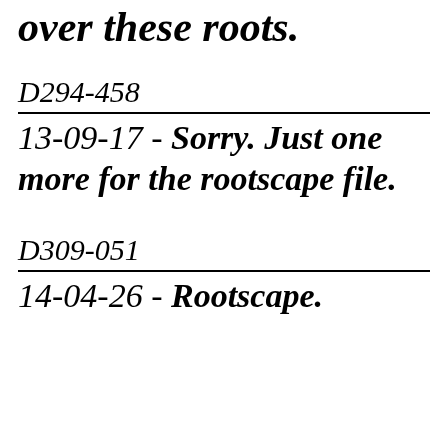over these roots.
D294-458
13-09-17 - Sorry. Just one more for the rootscape file.
D309-051
14-04-26 - Rootscape.